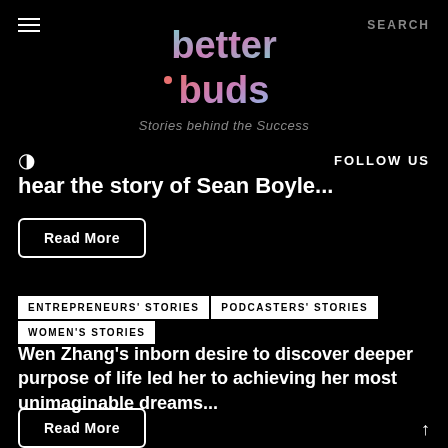[Figure (logo): Better Buds logo with colorful gradient letters on black background]
Stories behind the Success
FOLLOW US
hear the story of Sean Boyle...
Read More
ENTREPRENEURS' STORIES    PODCASTERS' STORIES    WOMEN'S STORIES
Wen Zhang's inborn desire to discover deeper purpose of life led her to achieving her most unimaginable dreams...
Read More